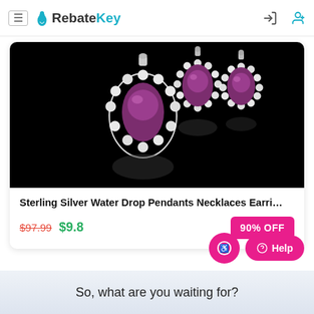RebateKey
[Figure (photo): Sterling silver water drop pendant necklace and earrings set with purple gemstones and rhinestones on black background]
Sterling Silver Water Drop Pendants Necklaces Earri…
$97.99 $9.8 90% OFF
So, what are you waiting for?